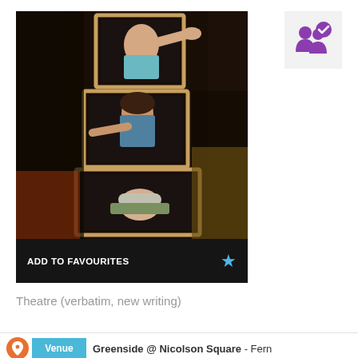[Figure (photo): Theatre promotional photo showing three performers stacked in wooden box frames against a dark background. Top person reaching out with arms spread, middle person pointing, bottom person lying flat looking at camera. Caption bar at bottom reads 'ADD TO FAVOURITES' with a blue star icon.]
[Figure (illustration): Purple icon showing two people silhouettes with a checkmark, on a light grey background square, top right corner]
Theatre (verbatim, new writing)
Greenside @ Nicolson Square - Fern